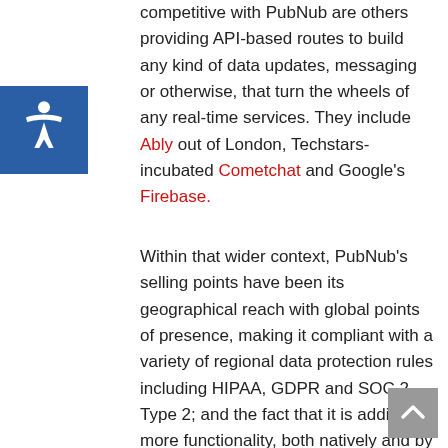competitive with PubNub are others providing API-based routes to build any kind of data updates, messaging or otherwise, that turn the wheels of any real-time services. They include Ably out of London, Techstars-incubated Cometchat and Google's Firebase.
Within that wider context, PubNub's selling points have been its geographical reach with global points of presence, making it compliant with a variety of regional data protection rules including HIPAA, GDPR and SOC 2 Type 2; and the fact that it is adding more functionality, both natively and by way of integrations with other services, all of which it lets developers control and monitor by way of a centralized dashboard. Services that it currently covers include in-app chat, geolocation, virtual events, push notifications and IoT services.